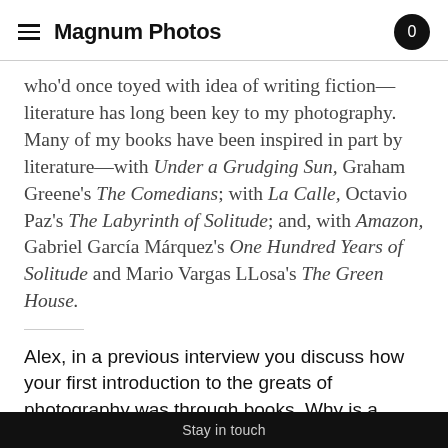Magnum Photos
who'd once toyed with idea of writing fiction—literature has long been key to my photography. Many of my books have been inspired in part by literature—with Under a Grudging Sun, Graham Greene's The Comedians; with La Calle, Octavio Paz's The Labyrinth of Solitude; and, with Amazon, Gabriel García Márquez's One Hundred Years of Solitude and Mario Vargas LLosa's The Green House.
Alex, in a previous interview you discuss how your first introduction to the greats of photography was through books. Why is a book,
Stay in touch